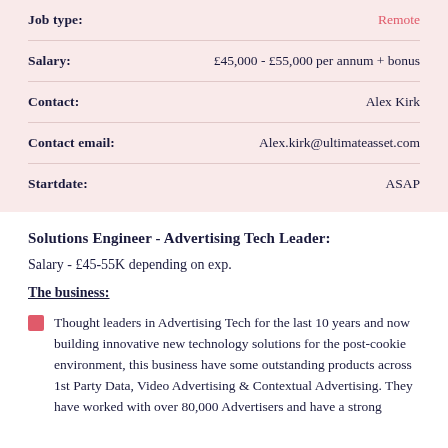| Field | Value |
| --- | --- |
| Job type: | Remote |
| Salary: | £45,000 - £55,000 per annum + bonus |
| Contact: | Alex Kirk |
| Contact email: | Alex.kirk@ultimateasset.com |
| Startdate: | ASAP |
Solutions Engineer - Advertising Tech Leader:
Salary - £45-55K depending on exp.
The business:
Thought leaders in Advertising Tech for the last 10 years and now building innovative new technology solutions for the post-cookie environment, this business have some outstanding products across 1st Party Data, Video Advertising & Contextual Advertising. They have worked with over 80,000 Advertisers and have a strong